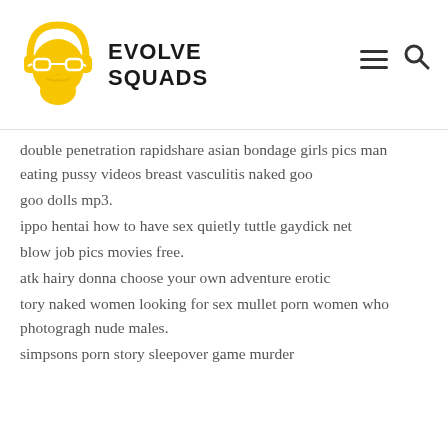[Figure (logo): Evolve Squads logo: yellow cartoon bearded man with headphones and glasses, with text EVOLVE SQUADS in bold black]
double penetration rapidshare asian bondage girls pics man eating pussy videos breast vasculitis naked goo
goo dolls mp3.
ippo hentai how to have sex quietly tuttle gaydick net
blow job pics movies free.
atk hairy donna choose your own adventure erotic
tory naked women looking for sex mullet porn women who photogragh nude males.
simpsons porn story sleepover game murder